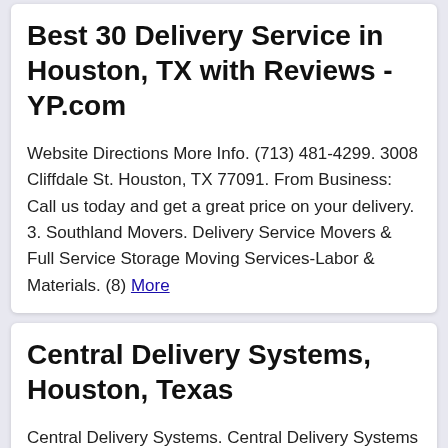Best 30 Delivery Service in Houston, TX with Reviews - YP.com
Website Directions More Info. (713) 481-4299. 3008 Cliffdale St. Houston, TX 77091. From Business: Call us today and get a great price on your delivery. 3. Southland Movers. Delivery Service Movers & Full Service Storage Moving Services-Labor & Materials. (8) More
Central Delivery Systems, Houston, Texas
Central Delivery Systems. Central Delivery Systems is a locally owned transportation